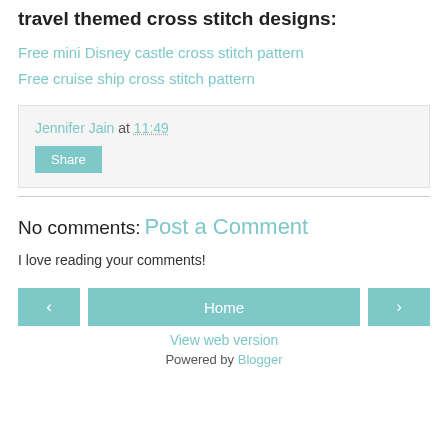travel themed cross stitch designs:
Free mini Disney castle cross stitch pattern
Free cruise ship cross stitch pattern
Jennifer Jain at 11:49
Share
No comments:
Post a Comment
I love reading your comments!
< Home >
View web version
Powered by Blogger